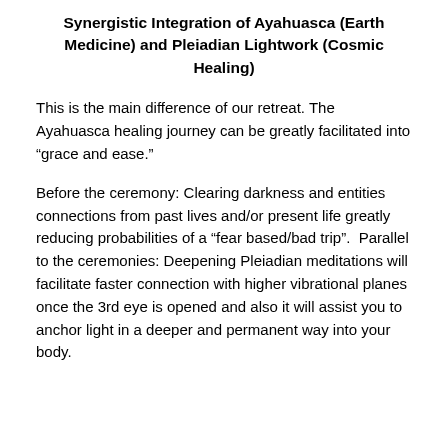Synergistic Integration of Ayahuasca (Earth Medicine) and Pleiadian Lightwork (Cosmic Healing)
This is the main difference of our retreat. The Ayahuasca healing journey can be greatly facilitated into “grace and ease.”
Before the ceremony: Clearing darkness and entities connections from past lives and/or present life greatly reducing probabilities of a “fear based/bad trip”.  Parallel to the ceremonies: Deepening Pleiadian meditations will facilitate faster connection with higher vibrational planes once the 3rd eye is opened and also it will assist you to anchor light in a deeper and permanent way into your body.